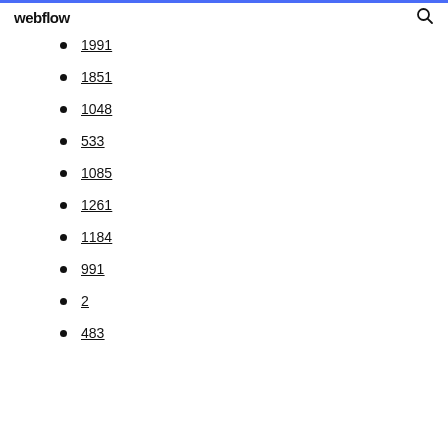webflow
1851
1048
533
1085
1261
1184
991
2
483